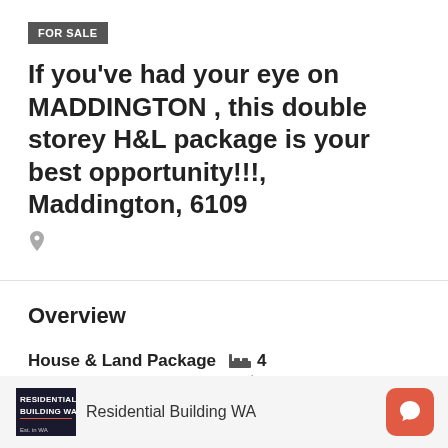FOR SALE
If you've had your eye on MADDINGTON , this double storey H&L package is your best opportunity!!!, Maddington, 6109
Overview
| Property Type | Bedrooms |
| --- | --- |
| House & Land Package | 4 |
Residential Building WA